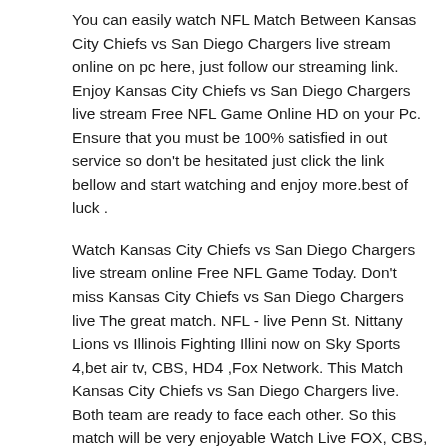You can easily watch NFL Match Between Kansas City Chiefs vs San Diego Chargers live stream online on pc here, just follow our streaming link. Enjoy Kansas City Chiefs vs San Diego Chargers live stream Free NFL Game Online HD on your Pc. Ensure that you must be 100% satisfied in out service so don't be hesitated just click the link bellow and start watching and enjoy more.best of luck .
Watch Kansas City Chiefs vs San Diego Chargers live stream online Free NFL Game Today. Don't miss Kansas City Chiefs vs San Diego Chargers live The great match. NFL - live Penn St. Nittany Lions vs Illinois Fighting Illini now on Sky Sports 4,bet air tv, CBS, HD4 ,Fox Network. This Match Kansas City Chiefs vs San Diego Chargers live. Both team are ready to face each other. So this match will be very enjoyable Watch Live FOX, CBS, NBC, ESPN TV Get the best online sports coverage on the net directly on your PC or LAPTOP.